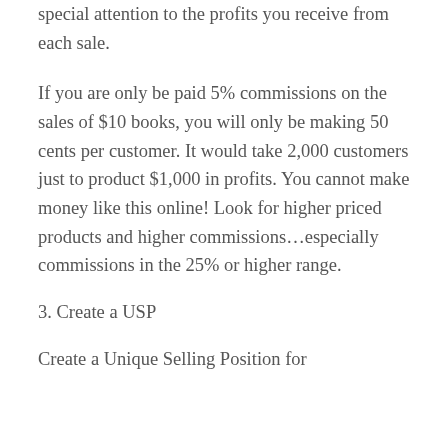special attention to the profits you receive from each sale.
If you are only be paid 5% commissions on the sales of $10 books, you will only be making 50 cents per customer. It would take 2,000 customers just to product $1,000 in profits. You cannot make money like this online! Look for higher priced products and higher commissions…especially commissions in the 25% or higher range.
3. Create a USP
Create a Unique Selling Position for